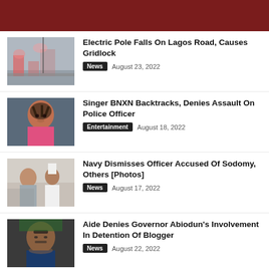Electric Pole Falls On Lagos Road, Causes Gridlock
News   August 23, 2022
Singer BNXN Backtracks, Denies Assault On Police Officer
Entertainment   August 18, 2022
Navy Dismisses Officer Accused Of Sodomy, Others [Photos]
News   August 17, 2022
Aide Denies Governor Abiodun's Involvement In Detention Of Blogger
News   August 22, 2022